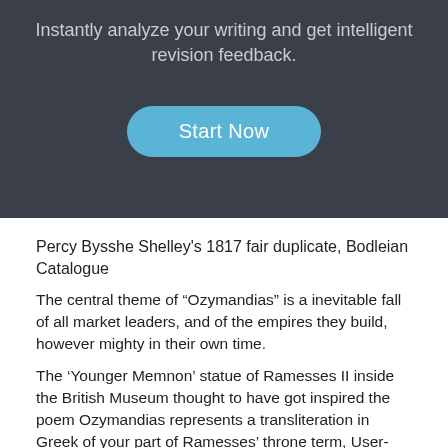[Figure (screenshot): Dark background UI panel with centered tagline text and a blue rounded 'Start Now' button]
Percy Bysshe Shelley's 1817 fair duplicate, Bodleian Catalogue
The central theme of “Ozymandias” is a inevitable fall of all market leaders, and of the empires they build, however mighty in their own time.
The ‘Younger Memnon’ statue of Ramesses II inside the British Museum thought to have got inspired the poem Ozymandias represents a transliteration in Greek of your part of Ramesses’ throne term, User-maat-re Setep-en-re.
The sonnet paraphrases the exergue on the base of the statue, given by Diodorus Siculus in his Bibliotheca